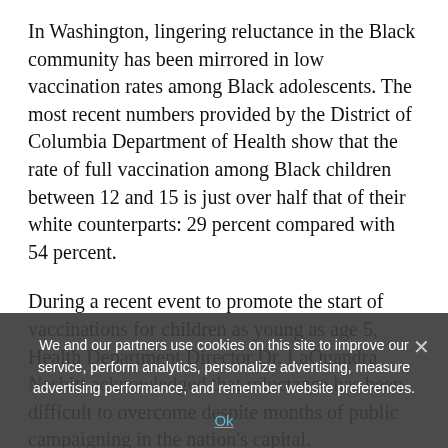In Washington, lingering reluctance in the Black community has been mirrored in low vaccination rates among Black adolescents. The most recent numbers provided by the District of Columbia Department of Health show that the rate of full vaccination among Black children between 12 and 15 is just over half that of their white counterparts: 29 percent compared with 54 percent.
During a recent event to promote the start of vaccinations for children as young as age 5, Health Department Director Dr. LaQuandra Nesbitt acknowledged that reluctance has been difficult to overcome despite months of public campaigning in the nation's capital.
“Our children...
We and our partners use cookies on this site to improve our service, perform analytics, personalize advertising, measure advertising performance, and remember website preferences.